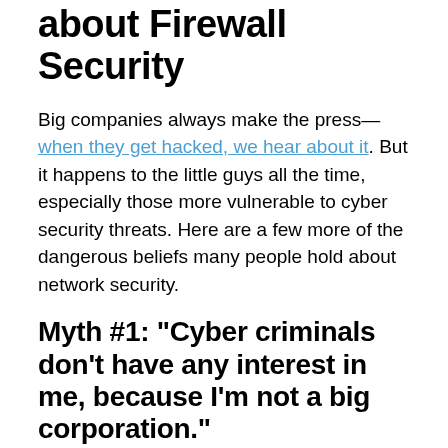about Firewall Security
Big companies always make the press—when they get hacked, we hear about it. But it happens to the little guys all the time, especially those more vulnerable to cyber security threats. Here are a few more of the dangerous beliefs many people hold about network security.
Myth #1: “Cyber criminals don’t have any interest in me, because I’m not a big corporation.”
You might be surprised at how untrue this is in reality. Mr. See said of his work in financial networks, “There’s a perception that you work with a target on your back, that they can break in and take all sorts of